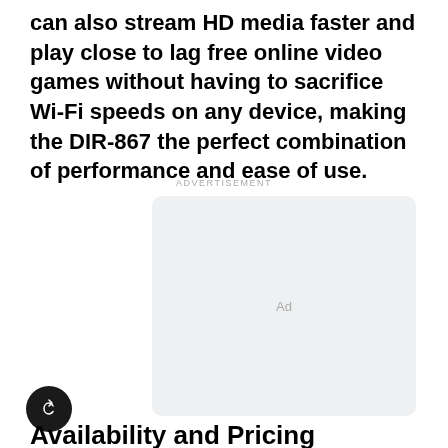can also stream HD media faster and play close to lag free online video games without having to sacrifice Wi-Fi speeds on any device, making the DIR-867 the perfect combination of performance and ease of use.
ADVERTISEMENT
[Figure (other): Advertisement placeholder box with 'Ad' label in center]
Availability and Pricing